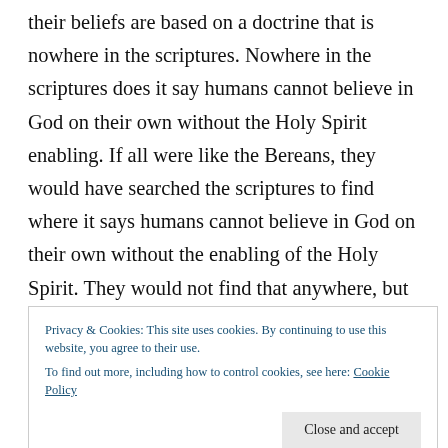their beliefs are based on a doctrine that is nowhere in the scriptures. Nowhere in the scriptures does it say humans cannot believe in God on their own without the Holy Spirit enabling. If all were like the Bereans, they would have searched the scriptures to find where it says humans cannot believe in God on their own without the enabling of the Holy Spirit. They would not find that anywhere, but you would find how Jesus died for “all men,” for the “whole world,” and for
Privacy & Cookies: This site uses cookies. By continuing to use this website, you agree to their use.
To find out more, including how to control cookies, see here: Cookie Policy
Close and accept
doctrines, move on, and grow in the Lord.